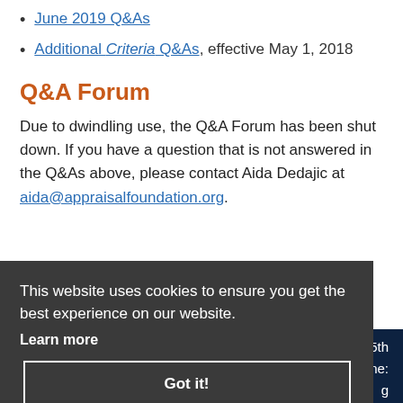June 2019 Q&As
Additional Criteria Q&As, effective May 1, 2018
Q&A Forum
Due to dwindling use, the Q&A Forum has been shut down. If you have a question that is not answered in the Q&As above, please contact Aida Dedajic at aida@appraisalfoundation.org.
This website uses cookies to ensure you get the best experience on our website.
Learn more
Got it!
5th ne: g our website